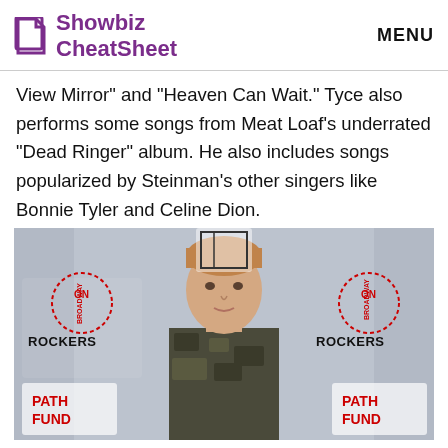Showbiz CheatSheet | MENU
View Mirror" and "Heaven Can Wait." Tyce also performs some songs from Meat Loaf's underrated "Dead Ringer" album. He also includes songs popularized by Steinman's other singers like Bonnie Tyler and Celine Dion.
[Figure (photo): Young blond man in camouflage shirt standing in front of a red carpet backdrop featuring 'Rockers On Broadway' and 'Path Fund' logos.]